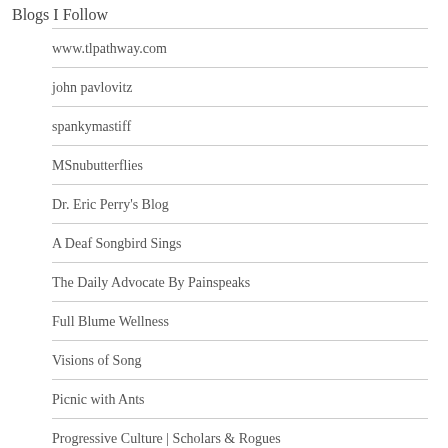Blogs I Follow
www.tlpathway.com
john pavlovitz
spankymastiff
MSnubutterflies
Dr. Eric Perry's Blog
A Deaf Songbird Sings
The Daily Advocate By Painspeaks
Full Blume Wellness
Visions of Song
Picnic with Ants
Progressive Culture | Scholars & Rogues
Compelled by His Love